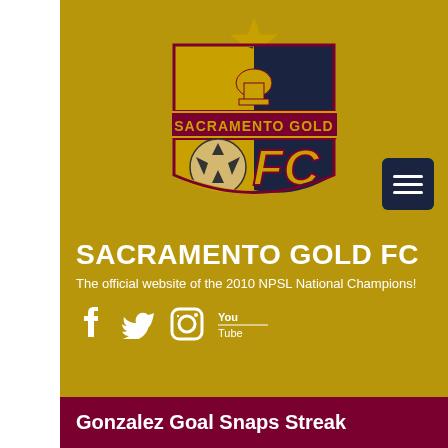[Figure (logo): Sacramento Gold FC shield logo with star on top, gold and navy blue crest with soccer ball, capitol building, and FC lettering, on gold background with hamburger menu button]
SACRAMENTO GOLD FC
The official website of the 2010 NPSL National Champions!
[Figure (infographic): Social media icons: Facebook, Twitter, Instagram, YouTube]
Gonzalez Goal Snaps Streak